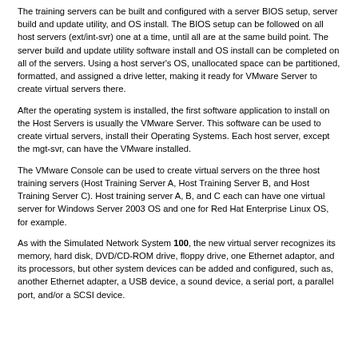The training servers can be built and configured with a server BIOS setup, server build and update utility, and OS install. The BIOS setup can be followed on all host servers (ext/int-svr) one at a time, until all are at the same build point. The server build and update utility software install and OS install can be completed on all of the servers. Using a host server's OS, unallocated space can be partitioned, formatted, and assigned a drive letter, making it ready for VMware Server to create virtual servers there.
After the operating system is installed, the first software application to install on the Host Servers is usually the VMware Server. This software can be used to create virtual servers, install their Operating Systems. Each host server, except the mgt-svr, can have the VMware installed.
The VMware Console can be used to create virtual servers on the three host training servers (Host Training Server A, Host Training Server B, and Host Training Server C). Host training server A, B, and C each can have one virtual server for Windows Server 2003 OS and one for Red Hat Enterprise Linux OS, for example.
As with the Simulated Network System 100, the new virtual server recognizes its memory, hard disk, DVD/CD-ROM drive, floppy drive, one Ethernet adaptor, and its processors, but other system devices can be added and configured, such as, another Ethernet adapter, a USB device, a sound device, a serial port, a parallel port, and/or a SCSI device.